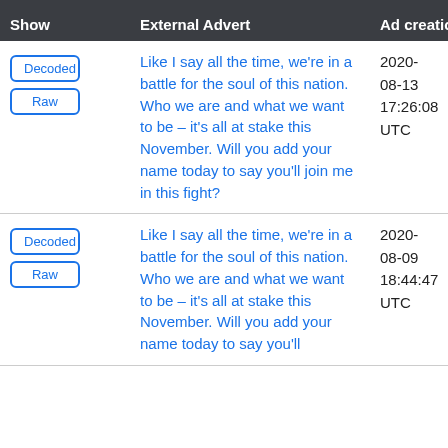| Show | External Advert | Ad creation time |
| --- | --- | --- |
| Decoded / Raw | Like I say all the time, we're in a battle for the soul of this nation. Who we are and what we want to be – it's all at stake this November. Will you add your name today to say you'll join me in this fight? | 2020-08-13 17:26:08 UTC |
| Decoded / Raw | Like I say all the time, we're in a battle for the soul of this nation. Who we are and what we want to be – it's all at stake this November. Will you add your name today to say you'll | 2020-08-09 18:44:47 UTC |